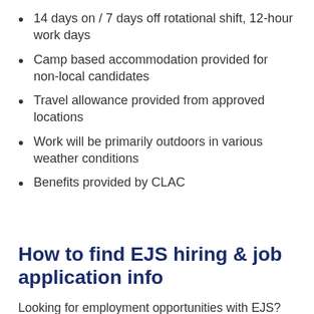14 days on / 7 days off rotational shift, 12-hour work days
Camp based accommodation provided for non-local candidates
Travel allowance provided from approved locations
Work will be primarily outdoors in various weather conditions
Benefits provided by CLAC
How to find EJS hiring & job application info
Looking for employment opportunities with EJS? Below